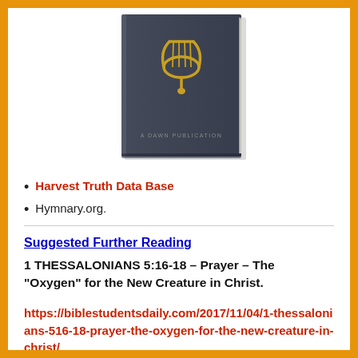[Figure (photo): Dark navy blue hardcover book with a gold lyre emblem on the cover and text 'A DAWN PUBLICATION' near the bottom center.]
Harvest Truth Data Base
Hymnary.org.
Suggested Further Reading
1 THESSALONIANS 5:16-18 – Prayer – The "Oxygen" for the New Creature in Christ. https://biblestudentsdaily.com/2017/11/04/1-thessalonians-516-18-prayer-the-oxygen-for-the-new-creature-in-christ/